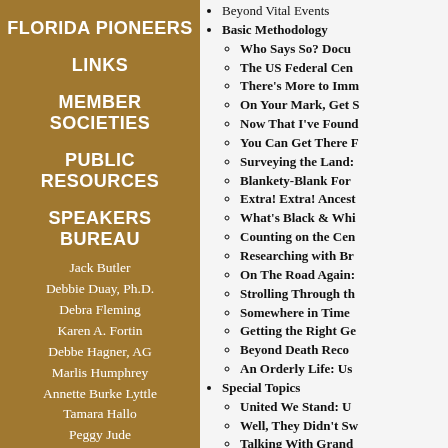FLORIDA PIONEERS
LINKS
MEMBER SOCIETIES
PUBLIC RESOURCES
SPEAKERS BUREAU
Jack Butler
Debbie Duay, Ph.D.
Debra Fleming
Karen A. Fortin
Debbe Hagner, AG
Marlis Humphrey
Annette Burke Lyttle
Tamara Hallo
Peggy Jude
Donna Moughty
Denise Barrett Olson
Ann Mohr Osisek
Diana Crisman Smith
Beyond Vital Events
Basic Methodology
Who Says So? Docu
The US Federal Cen
There's More to Imm
On Your Mark, Get S
Now That I've Foun
You Can Get There F
Surveying the Land:
Blankety-Blank For
Extra! Extra! Ancest
What's Black & Whi
Counting on the Cen
Researching with Br
On The Road Again:
Strolling Through th
Somewhere in Time
Getting the Right Ge
Beyond Death Reco
An Orderly Life: Us
Special Topics
United We Stand: U
Well, They Didn't Sw
Talking With Grand
Little Houses on the
The Quakers are Ou
Here Comes the Fam
The Importance of F